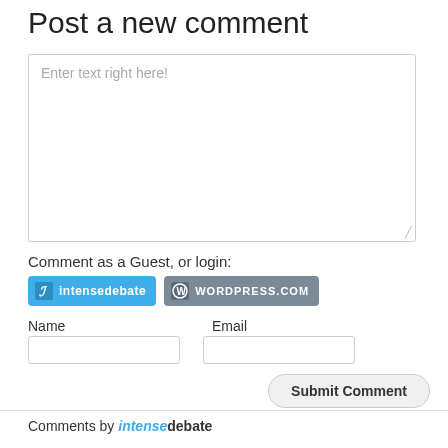Post a new comment
Enter text right here!
Comment as a Guest, or login:
[Figure (screenshot): IntenseDebate and WordPress.com login buttons]
Name
Email
Submit Comment
Comments by intensedebate
Please click here if you are unable to post your comment.